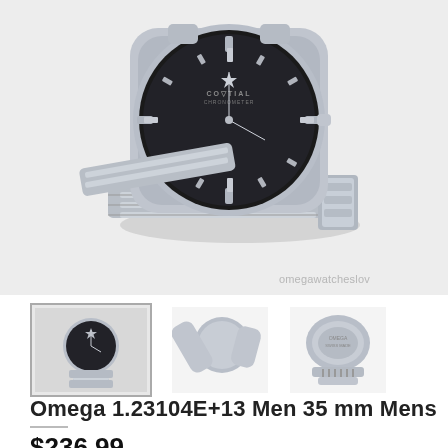[Figure (photo): Main product photo of Omega Constellation men's watch with dark grey dial, silver tone stainless steel bracelet and bezel, star on dial, viewed from an angle showing the bracelet. Watermark reads 'omegawatcheslov' at bottom right.]
[Figure (photo): Thumbnail: Front view of Omega Constellation watch with dark dial and steel bracelet, selected (bordered).]
[Figure (photo): Thumbnail: Side/crown view of Omega Constellation watch, showing profile with strap.]
[Figure (photo): Thumbnail: Back/caseback view of Omega Constellation watch showing bracelet clasp side.]
Omega 1.23104E+13 Men 35 mm Mens
$236.99